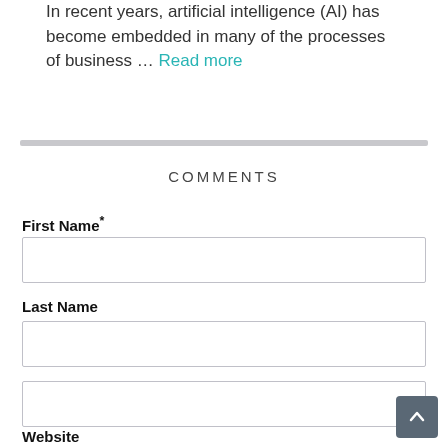In recent years, artificial intelligence (AI) has become embedded in many of the processes of business … Read more
COMMENTS
First Name*
Last Name
Website